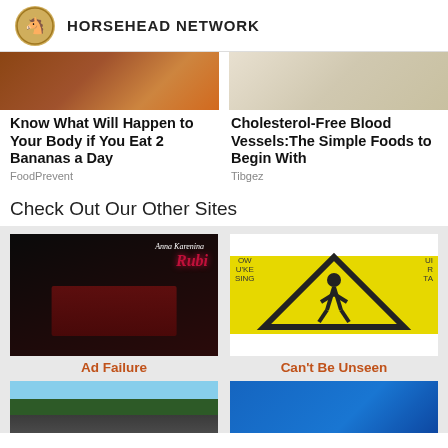HORSEHEAD NETWORK
[Figure (photo): Food photo - bananas/food on wooden surface]
Know What Will Happen to Your Body if You Eat 2 Bananas a Day
FoodPrevent
[Figure (photo): Food/medical diagram photo]
Cholesterol-Free Blood Vessels:The Simple Foods to Begin With
Tibgez
Check Out Our Other Sites
[Figure (photo): Rubi - movie/TV show promotional image with woman in red dress on dark background]
Ad Failure
[Figure (photo): Yellow warning/caution sign with running person icon]
Can't Be Unseen
[Figure (photo): Blue pickup truck outdoors]
[Figure (photo): Blue sign]